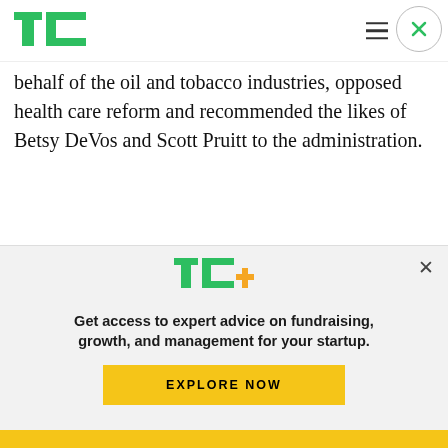TechCrunch logo, hamburger menu, close button
behalf of the oil and tobacco industries, opposed health care reform and recommended the likes of Betsy DeVos and Scott Pruitt to the administration.
Google recently scuttled an advisory committee on AI that included Heritage's president after overwhelming criticism that they had essentially endorsed the think tank's policies.
[Figure (logo): TechCrunch TC+ logo with green TC letters and orange plus sign]
Get access to expert advice on fundraising, growth, and management for your startup.
EXPLORE NOW